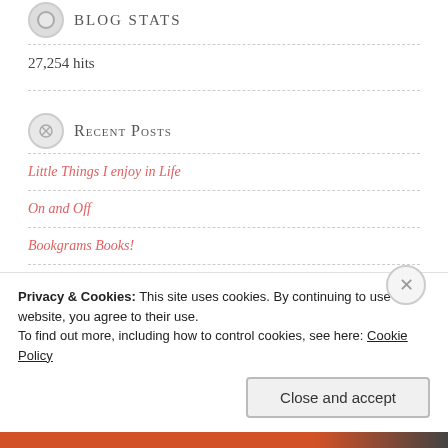BLOG STATS
27,254 hits
Recent Posts
Little Things I enjoy in Life
On and Off
Bookgrams Books!
June Journal Layout
Privacy & Cookies: This site uses cookies. By continuing to use this website, you agree to their use.
To find out more, including how to control cookies, see here: Cookie Policy
Close and accept